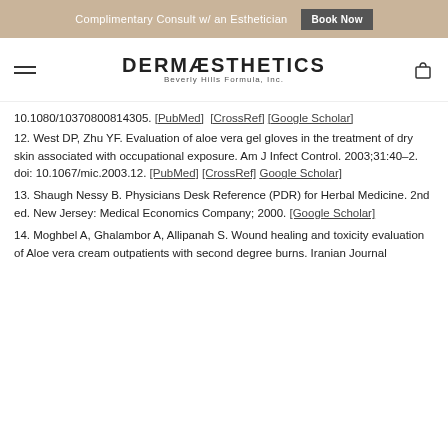Complimentary Consult w/ an Esthetician  Book Now
DERMÆSTHETICS Beverly Hills Formula, Inc.
10.1080/10370800814305. [PubMed] [CrossRef] [Google Scholar]
12. West DP, Zhu YF. Evaluation of aloe vera gel gloves in the treatment of dry skin associated with occupational exposure. Am J Infect Control. 2003;31:40–2. doi: 10.1067/mic.2003.12. [PubMed] [CrossRef] [Google Scholar]
13. Shaugh Nessy B. Physicians Desk Reference (PDR) for Herbal Medicine. 2nd ed. New Jersey: Medical Economics Company; 2000. [Google Scholar]
14. Moghbel A, Ghalambor A, Allipanah S. Wound healing and toxicity evaluation of Aloe vera cream outpatients with second degree burns. Iranian Journal